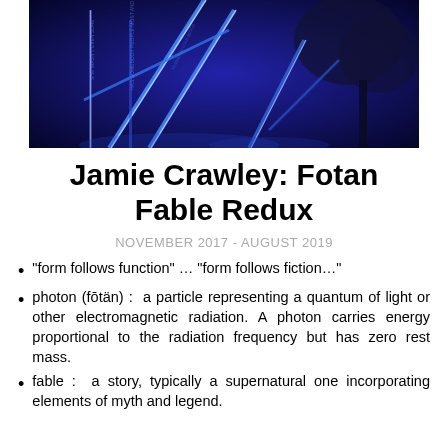[Figure (photo): Nighttime photo of illuminated blue neon light installations against a dark background with trees]
Jamie Crawley: Fotan Fable Redux
NOVEMBER 2017 - AUGUST 2019
“form follows function” … “form follows fiction…”
photon (fōtän) :  a particle representing a quantum of light or other electromagnetic radiation. A photon carries energy proportional to the radiation frequency but has zero rest mass.
fable :  a story, typically a supernatural one incorporating elements of myth and legend.